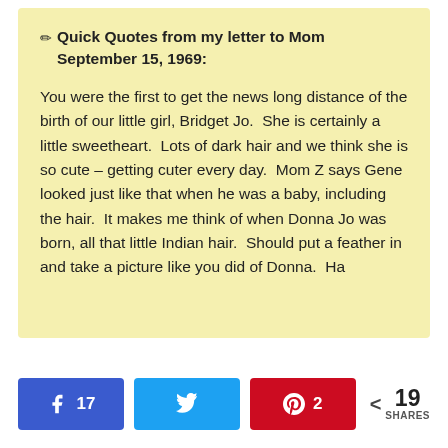✏ Quick Quotes from my letter to Mom September 15, 1969:
You were the first to get the news long distance of the birth of our little girl, Bridget Jo.  She is certainly a little sweetheart.  Lots of dark hair and we think she is so cute – getting cuter every day.  Mom Z says Gene looked just like that when he was a baby, including the hair.  It makes me think of when Donna Jo was born, all that little Indian hair.  Should put a feather in and take a picture like you did of Donna.  Ha
17 [Facebook share button] [Twitter share button] 2 [Pinterest share button] < 19 SHARES